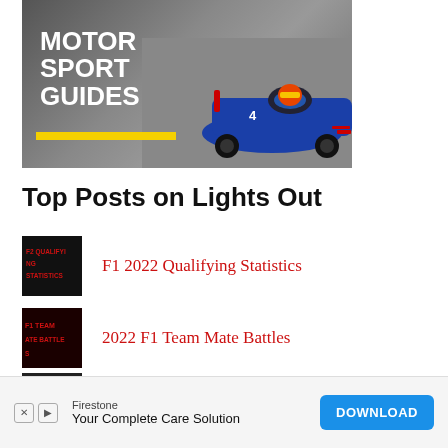[Figure (photo): Motor Sport Guides banner showing a blue Formula E race car with driver in cockpit, dark background with text overlay reading MOTOR SPORT GUIDES and a yellow bracket underline]
Top Posts on Lights Out
F1 2022 Qualifying Statistics
2022 F1 Team Mate Battles
The Height of Every F1 Driver fro...
[Figure (other): Firestone advertisement banner: 'Your Complete Care Solution' with DOWNLOAD button]